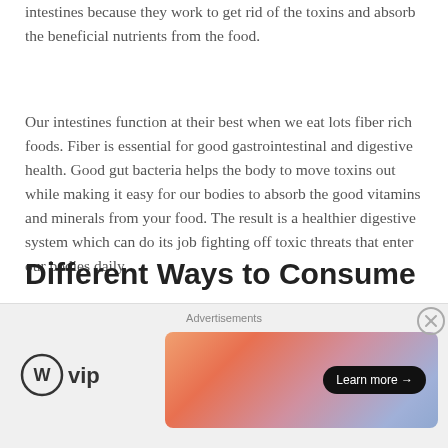intestines because they work to get rid of the toxins and absorb the beneficial nutrients from the food.
Our intestines function at their best when we eat lots fiber rich foods. Fiber is essential for good gastrointestinal and digestive health. Good gut bacteria helps the body to move toxins out while making it easy for our bodies to absorb the good vitamins and minerals from your food. The result is a healthier digestive system which can do its job fighting off toxic threats that enter our bodies daily.
Different Ways to Consume
[Figure (other): Advertisement bar at the bottom of the page. Contains 'Advertisements' label, WordPress VIP logo on the left, and a colorful gradient banner ad on the right with a 'Learn more →' button. A close (X) button is in the top-right corner.]